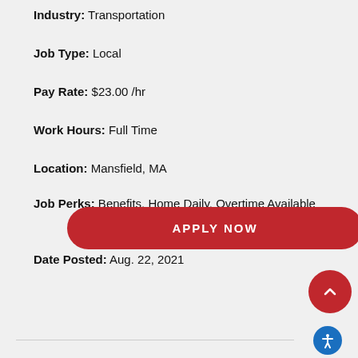Industry: Transportation
Job Type: Local
Pay Rate: $23.00 /hr
Work Hours: Full Time
Location: Mansfield, MA
Job Perks: Benefits, Home Daily, Overtime Available
Date Posted: Aug. 22, 2021
APPLY NOW